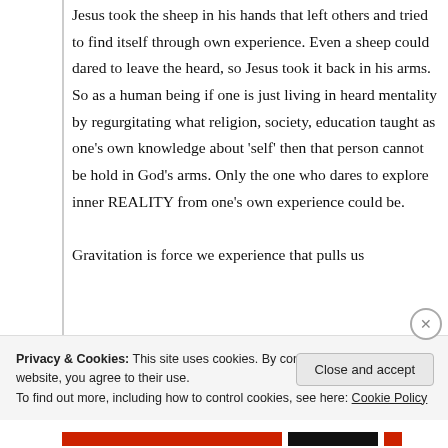Jesus took the sheep in his hands that left others and tried to find itself through own experience. Even a sheep could dared to leave the heard, so Jesus took it back in his arms. So as a human being if one is just living in heard mentality by regurgitating what religion, society, education taught as one's own knowledge about 'self' then that person cannot be hold in God's arms. Only the one who dares to explore inner REALITY from one's own experience could be.
Gravitation is force we experience that pulls us
Privacy & Cookies: This site uses cookies. By continuing to use this website, you agree to their use.
To find out more, including how to control cookies, see here: Cookie Policy
Close and accept